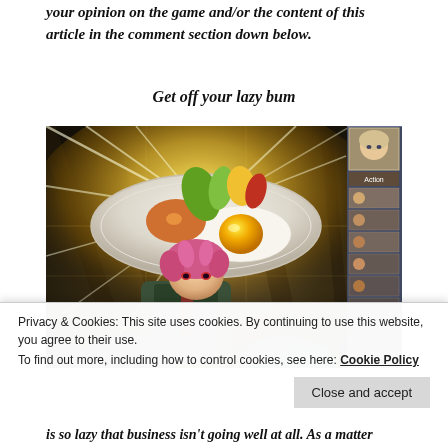your opinion on the game and/or the content of this article in the comment section down below.
Get off your lazy bum
[Figure (screenshot): A video game screenshot showing an anime character with pink hair holding up a plate of food (egg, toast, vegetables) with dramatic light rays emanating from the plate. A UI panel on the right shows a character portrait and action slots labeled 'Action'.]
Privacy & Cookies: This site uses cookies. By continuing to use this website, you agree to their use.
To find out more, including how to control cookies, see here: Cookie Policy
Close and accept
is so lazy that business isn't going well at all. As a matter